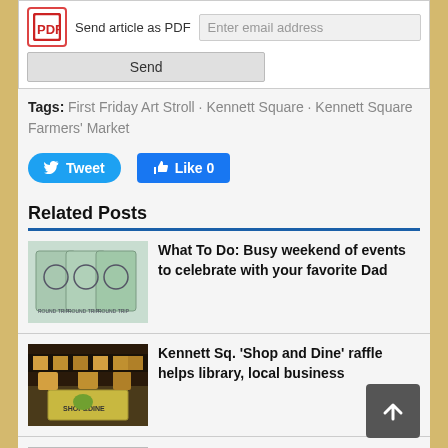[Figure (screenshot): PDF send bar with icon, 'Send article as PDF' label, email input, and Send button]
Tags: First Friday Art Stroll · Kennett Square · Kennett Square Farmers' Market
[Figure (screenshot): Tweet and Like 0 social sharing buttons]
Related Posts
[Figure (photo): Thumbnail of train tickets]
What To Do: Busy weekend of events to celebrate with your favorite Dad
[Figure (photo): Thumbnail of Shop and Dine event with people at table]
Kennett Sq. 'Shop and Dine' raffle helps library, local business
[Figure (photo): Thumbnail of Mushroom Festival logo]
Mushroom Festival to return to Kennett town center